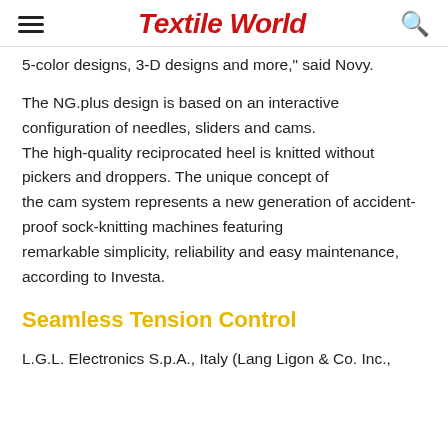Textile World
5-color designs, 3-D designs and more," said Novy.
The NG.plus design is based on an interactive configuration of needles, sliders and cams. The high-quality reciprocated heel is knitted without pickers and droppers. The unique concept of the cam system represents a new generation of accident-proof sock-knitting machines featuring remarkable simplicity, reliability and easy maintenance, according to Investa.
Seamless Tension Control
L.G.L. Electronics S.p.A., Italy (Lang Ligon & Co. Inc.,